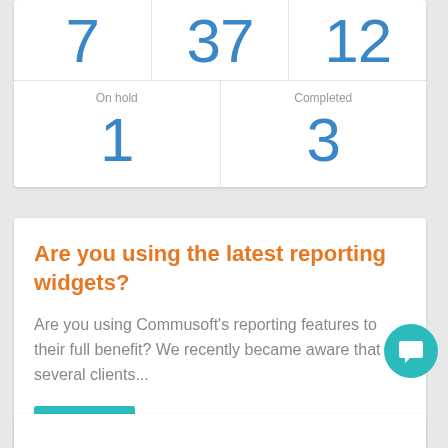| 7 | 37 | 12 |
| 1 (On hold) | 3 (Completed) |
Are you using the latest reporting widgets?
Are you using Commusoft's reporting features to their full benefit? We recently became aware that several clients...
Reporting